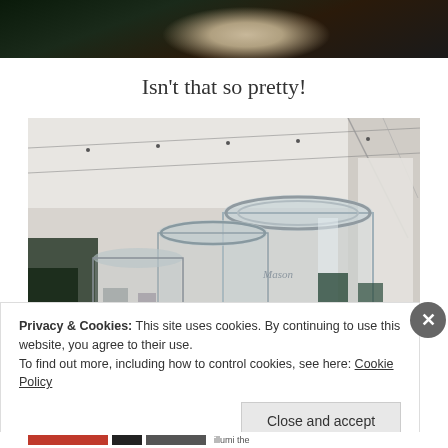[Figure (photo): Partial top photo showing dark background with foliage and a light-colored circular object (possibly a vase or balloon), cropped at top of page]
Isn’t that so pretty!
[Figure (photo): Photo of glass mason jars arranged on a table inside a white tent/marquee with string lights overhead. Taken at an event or market setting.]
Privacy & Cookies: This site uses cookies. By continuing to use this website, you agree to their use.
To find out more, including how to control cookies, see here: Cookie Policy
Close and accept